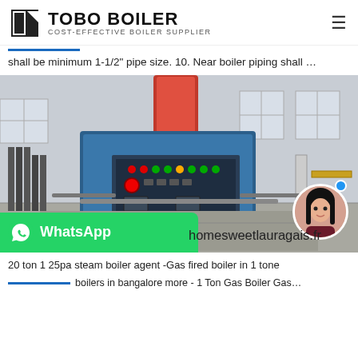TOBO BOILER - COST-EFFECTIVE BOILER SUPPLIER
shall be minimum 1-1/2" pipe size. 10. Near boiler piping shall …
[Figure (photo): Industrial boiler unit (vertical steam boiler) with blue metal frame, red cylinder column, and control panel with switches and indicators, photographed in a factory/warehouse setting.]
homesweetlauragais.fr
20 ton 1 25pa steam boiler agent -Gas fired boiler in 1 tone
boilers in bangalore more - 1 Ton Gas Boiler Gas…